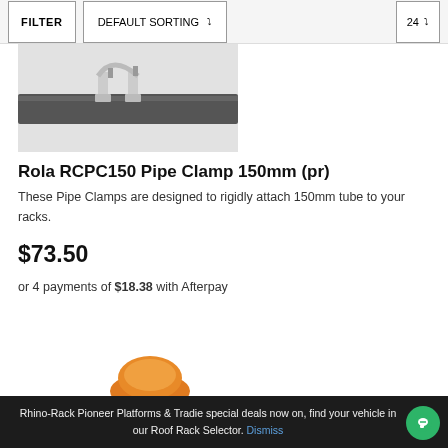FILTER  DEFAULT SORTING  24
[Figure (photo): Photo of Rola RCPC150 Pipe Clamp 150mm product showing metal clamp on a black rack rail, partial view from above]
Rola RCPC150 Pipe Clamp 150mm (pr)
These Pipe Clamps are designed to rigidly attach 150mm tube to your racks.
$73.50
or 4 payments of $18.38 with Afterpay
[Figure (photo): Partial view of a second product with an orange component visible at the bottom of the page]
Rhino-Rack Pioneer Platforms & Tradie special deals now on, find your vehicle in our Roof Rack Selector. Dismiss